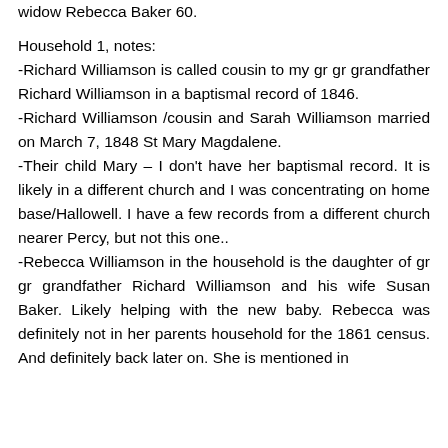widow Rebecca Baker 60.
Household 1, notes:
-Richard Williamson is called cousin to my gr gr grandfather Richard Williamson in a baptismal record of 1846.
-Richard Williamson /cousin and Sarah Williamson married on March 7, 1848 St Mary Magdalene.
-Their child Mary – I don't have her baptismal record. It is likely in a different church and I was concentrating on home base/Hallowell. I have a few records from a different church nearer Percy, but not this one..
-Rebecca Williamson in the household is the daughter of gr gr grandfather Richard Williamson and his wife Susan Baker. Likely helping with the new baby. Rebecca was definitely not in her parents household for the 1861 census. And definitely back later on. She is mentioned in